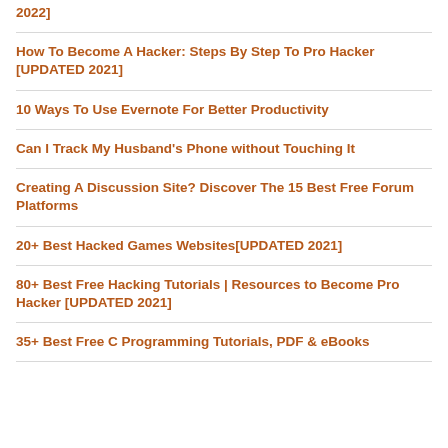2022]
How To Become A Hacker: Steps By Step To Pro Hacker [UPDATED 2021]
10 Ways To Use Evernote For Better Productivity
Can I Track My Husband's Phone without Touching It
Creating A Discussion Site? Discover The 15 Best Free Forum Platforms
20+ Best Hacked Games Websites[UPDATED 2021]
80+ Best Free Hacking Tutorials | Resources to Become Pro Hacker [UPDATED 2021]
35+ Best Free C Programming Tutorials, PDF & eBooks